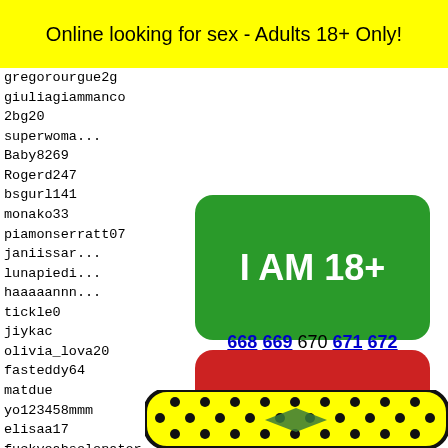Online looking for sex - Adults 18+ Only!
gregorourgue2g
guliagiammanco
2bg20
superwoma...
Baby8269
Rogerd247
bsgurl141
monako33
piamonserratt07
janiissar...
lunapiedi...
haaaaannn...
tickle0
jiykac
olivia_lova20
fasteddy64
matdue
yo123458mmm
elisaa17
fuckyeahselenator
nikkit
mikeyk...
dick_b...
gigi20...
august...
si_13
[Figure (other): Green button with white bold text 'I AM 18+']
[Figure (other): Red button with white bold text 'EXIT']
668 669 670 671 672
[Figure (illustration): Yellow Snapchat ghost logo with black dots pattern and green bow tie decoration]